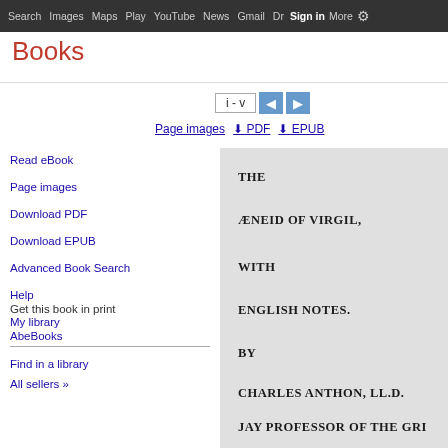Search  Images  Maps  Play  YouTube  News  Gmail  Drive  More  Sign in  Settings
Books
Read eBook
Page images
Download PDF
Download EPUB
Advanced Book Search
Help
My library
Get this book in print
AbeBooks
Find in a library
All sellers »
[Figure (screenshot): Google Books page viewer showing i-v page controls, Page images / PDF / EPUB download links, and a preview of The Aeneid of Virgil with English Notes by Charles Anthon, LL.D., Jay Professor of the Greek, New-York, and Rector o...]
THE

ÆNEID OF VIRGIL,

WITH

ENGLISH NOTES.

BY

CHARLES ANTHON, LL.D.

JAY PROFESSOR OF THE GRI

NEW-YORK, AND RECTOR O